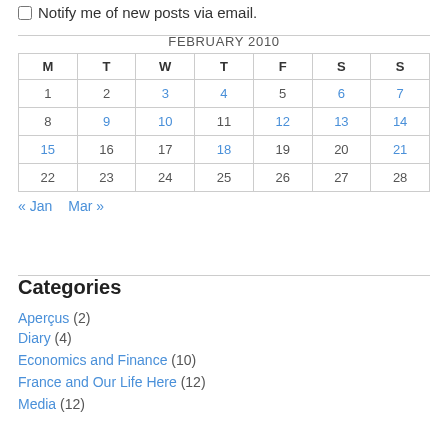Notify me of new posts via email.
| M | T | W | T | F | S | S |
| --- | --- | --- | --- | --- | --- | --- |
| 1 | 2 | 3 | 4 | 5 | 6 | 7 |
| 8 | 9 | 10 | 11 | 12 | 13 | 14 |
| 15 | 16 | 17 | 18 | 19 | 20 | 21 |
| 22 | 23 | 24 | 25 | 26 | 27 | 28 |
« Jan   Mar »
Categories
Aperçus (2)
Diary (4)
Economics and Finance (10)
France and Our Life Here (12)
Media (12)